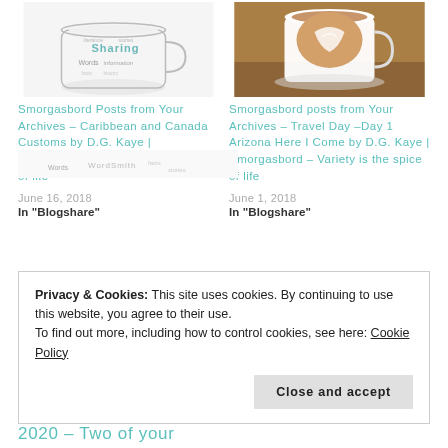[Figure (illustration): Word-cloud mug illustration with words like Sharing, Words, information]
[Figure (photo): Coffee latte art in white cup on wooden table]
Smorgasbord Posts from Your Archives – Caribbean and Canada Customs by D.G. Kaye | Smorgasbord – Variety is the spice of life
Smorgasbord posts from Your Archives – Travel Day –Day 1 Arizona Here I Come by D.G. Kaye | Smorgasbord – Variety is the spice of life
June 16, 2018
In "Blogshare"
June 1, 2018
In "Blogshare"
[Figure (illustration): Partially visible word-cloud mug illustration at bottom]
Privacy & Cookies: This site uses cookies. By continuing to use this website, you agree to their use.
To find out more, including how to control cookies, see here: Cookie Policy
Close and accept
2020 – Two of your